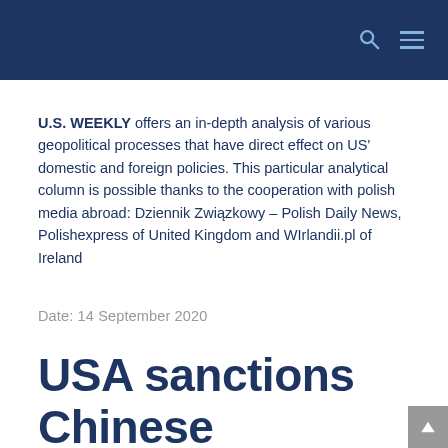U.S. WEEKLY offers an in-depth analysis of various geopolitical processes that have direct effect on US' domestic and foreign policies. This particular analytical column is possible thanks to the cooperation with polish media abroad: Dziennik Związkowy – Polish Daily News, Polishexpress of United Kingdom and WIrlandii.pl of Ireland
Date: 14 September 2020
USA sanctions Chinese companies